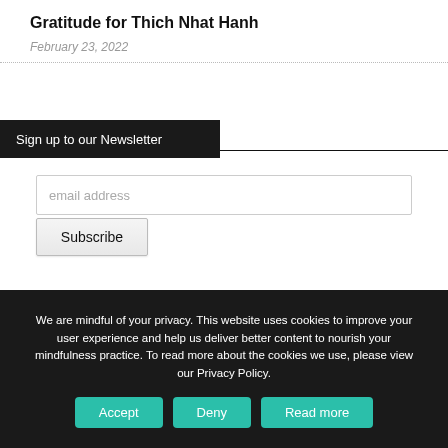Gratitude for Thich Nhat Hanh
February 23, 2022
Sign up to our Newsletter
email address
Subscribe
We are mindful of your privacy. This website uses cookies to improve your user experience and help us deliver better content to nourish your mindfulness practice. To read more about the cookies we use, please view our Privacy Policy.
Accept
Deny
Read more